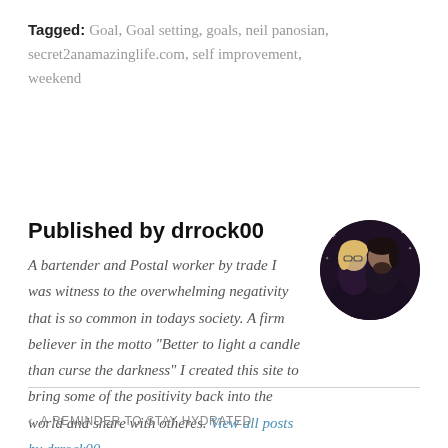Tagged: Goal, Goal setting, goals, neil panosian, secret2anamazinglife.com, self improvement, weekend
Published by drrock00
[Figure (photo): Circular avatar photo of a couple, a blonde woman with glasses and a dark-haired man with a beard, against a dark background with light sparkles.]
A bartender and Postal worker by trade I was witness to the overwhelming negativity that is so common in todays society. A firm believer in the motto "Better to light a candle than curse the darkness" I created this site to bring some of the positivity back into the world and share with otheres. View all posts by drrock00
‹ A REMINDER TO STAY HYDRATED